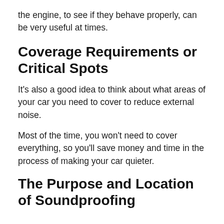the engine, to see if they behave properly, can be very useful at times.
Coverage Requirements or Critical Spots
It's also a good idea to think about what areas of your car you need to cover to reduce external noise.
Most of the time, you won't need to cover everything, so you'll save money and time in the process of making your car quieter.
The Purpose and Location of Soundproofing